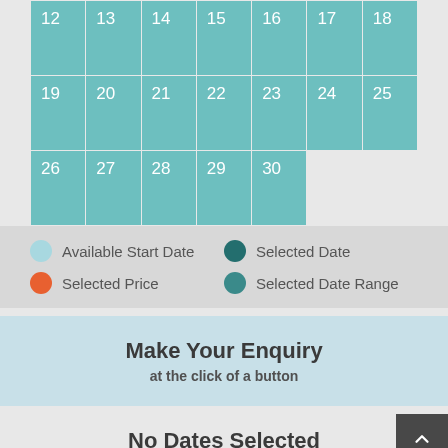[Figure (other): Partial calendar grid showing dates 12-30, with teal/cyan colored cells and white numbers. Bottom-right area has empty grey cells (after date 30).]
Available Start Date   Selected Date
Selected Price   Selected Date Range
Make Your Enquiry
at the click of a button
No Dates Selected